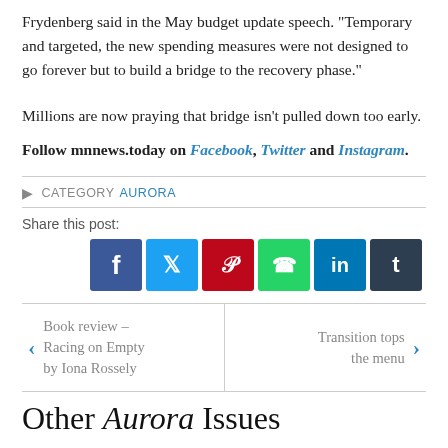Frydenberg said in the May budget update speech. “Temporary and targeted, the new spending measures were not designed to go forever but to build a bridge to the recovery phase."
Millions are now praying that bridge isn't pulled down too early.
Follow mnnews.today on Facebook, Twitter and Instagram.
CATEGORY AURORA
Share this post:
[Figure (infographic): Row of six social media share buttons: Facebook (blue), Twitter (light blue), Pinterest (red), WhatsApp (green), LinkedIn (blue), Tumblr (dark navy)]
Book review – Racing on Empty by Iona Rossely
Transition tops the menu
Other Aurora Issues